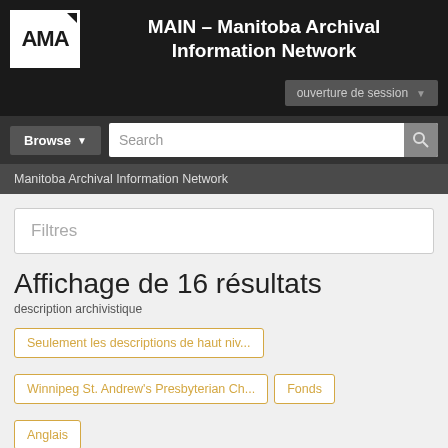[Figure (logo): AMA logo with white background and black text]
MAIN – Manitoba Archival Information Network
ouverture de session
Browse  Search
Manitoba Archival Information Network
Filtres
Affichage de 16 résultats
description archivistique
Seulement les descriptions de haut niv...
Winnipeg St. Andrew's Presbyterian Ch...
Fonds
Anglais